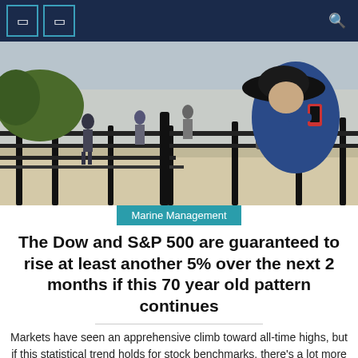Navigation bar with icons
[Figure (photo): Street scene with people walking, iron fence in foreground, person in blue jacket and hat taking a photo with a smartphone]
Marine Management
The Dow and S&P 500 are guaranteed to rise at least another 5% over the next 2 months if this 70 year old pattern continues
Markets have seen an apprehensive climb toward all-time highs, but if this statistical trend holds for stock benchmarks, there's a lot more room to go. Data from the Dow Jones Data Group dating back to 1950 shows that when the Dow Jones Industrial Average DJIA, +1.65% and the S&P 500 Index SPX, +2.43% end October [...]